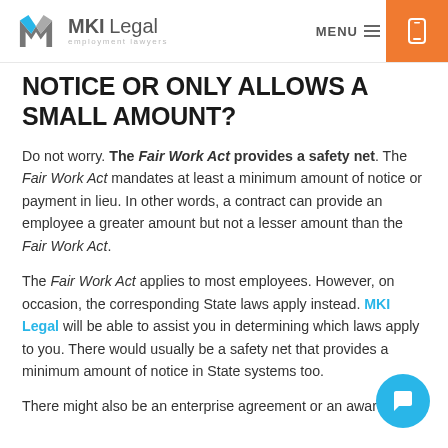MKI Legal — employment lawyers | MENU
NOTICE OR ONLY ALLOWS A SMALL AMOUNT?
Do not worry. The Fair Work Act provides a safety net. The Fair Work Act mandates at least a minimum amount of notice or payment in lieu. In other words, a contract can provide an employee a greater amount but not a lesser amount than the Fair Work Act.
The Fair Work Act applies to most employees. However, on occasion, the corresponding State laws apply instead. MKI Legal will be able to assist you in determining which laws apply to you. There would usually be a safety net that provides a minimum amount of notice in State systems too.
There might also be an enterprise agreement or an award